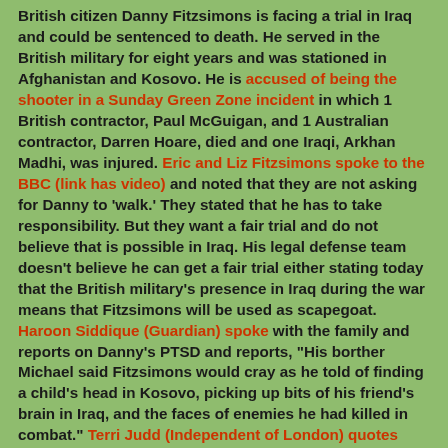British citizen Danny Fitzsimons is facing a trial in Iraq and could be sentenced to death. He served in the British military for eight years and was stationed in Afghanistan and Kosovo. He is accused of being the shooter in a Sunday Green Zone incident in which 1 British contractor, Paul McGuigan, and 1 Australian contractor, Darren Hoare, died and one Iraqi, Arkhan Madhi, was injured. Eric and Liz Fitzsimons spoke to the BBC (link has video) and noted that they are not asking for Danny to 'walk.' They stated that he has to take responsibility. But they want a fair trial and do not believe that is possible in Iraq. His legal defense team doesn't believe he can get a fair trial either stating today that the British military's presence in Iraq during the war means that Fitzsimons will be used as scapegoat. Haroon Siddique (Guardian) spoke with the family and reports on Danny's PTSD and reports, "His borther Michael said Fitzsimons would cray as he told of finding a child's head in Kosovo, picking up bits of his friend's brain in Iraq, and the faces of enemies he had killed in combat." Terri Judd (Independent of London) quotes Danny's father Eric stating that his son is a victim in the shooting as well, "We do feel very, very sorry for these two men and their families. But Daniel is also a victim." Liz Fitzsimons, Danny's step-mother, has made similar remarks and noted the pain these two...